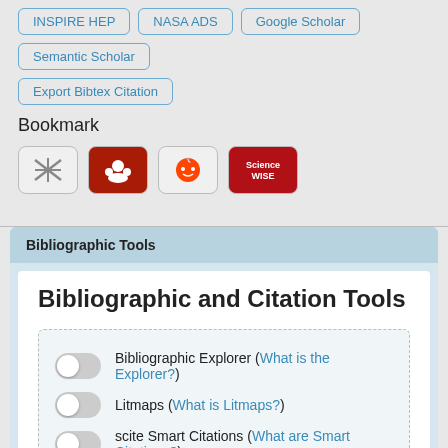INSPIRE HEP
NASA ADS
Google Scholar
Semantic Scholar
Export Bibtex Citation
Bookmark
[Figure (other): Four bookmark icon buttons: a crosshatch/scissors icon, a Mendeley icon, a Reddit alien icon, and a ScienceWISE icon]
Bibliographic Tools
Bibliographic and Citation Tools
Bibliographic Explorer (What is the Explorer?)
Litmaps (What is Litmaps?)
scite Smart Citations (What are Smart Citations?)